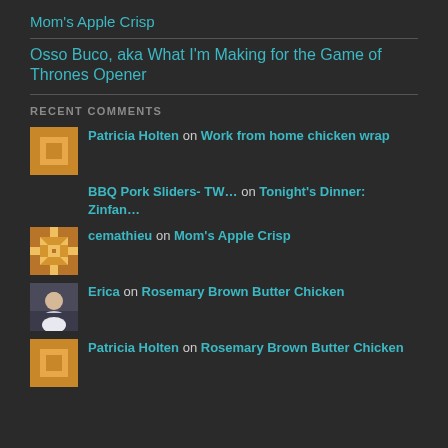Mom's Apple Crisp
Osso Buco, aka What I'm Making for the Game of Thrones Opener
RECENT COMMENTS
Patricia Holten on Work from home chicken wrap
BBQ Pork Sliders- TW… on Tonight's Dinner: Zinfan…
cemathieu on Mom's Apple Crisp
Erica on Rosemary Brown Butter Chicken
Patricia Holten on Rosemary Brown Butter Chicken